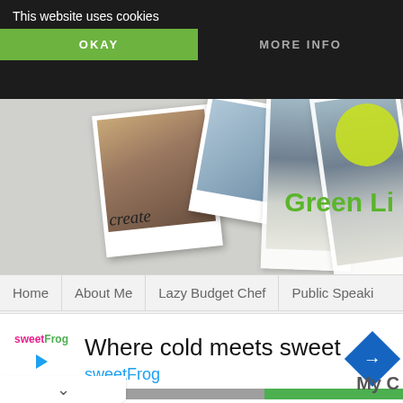This website uses cookies
OKAY
MORE INFO
[Figure (screenshot): Website hero section with polaroid photos showing 'create' label, house photos, green circle decoration, and partial 'Green Li' text]
Home
About Me
Lazy Budget Chef
Public Speaki
Link Parties
[Figure (screenshot): Social share bar with Twitter bird icon on blue background and Facebook 'f' on dark blue background]
My C
[Figure (screenshot): Advertisement banner: sweetFrog logo, 'Where cold meets sweet', 'sweetFrog' in blue, blue diamond arrow icon]